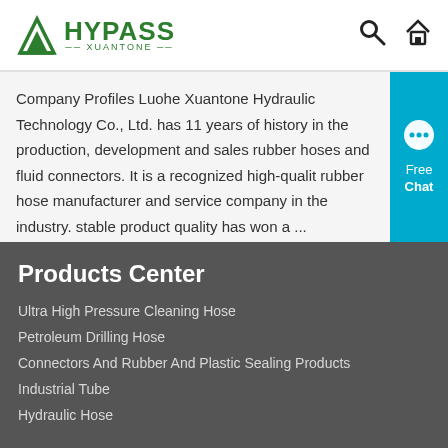HYPASS XUANTONE
Company Profiles Luohe Xuantone Hydraulic Technology Co., Ltd. has 11 years of history in the production, development and sales rubber hoses and fluid connectors. It is a recognized high-quality rubber hose manufacturer and service company in the industry. stable product quality has won a ...
Products Center
Ultra High Pressure Cleaning Hose
Petroleum Drilling Hose
Connectors And Rubber And Plastic Sealing Products
Industrial Tube
Hydraulic Hose